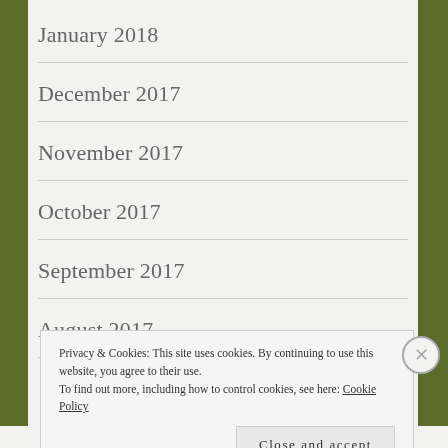January 2018
December 2017
November 2017
October 2017
September 2017
August 2017
Privacy & Cookies: This site uses cookies. By continuing to use this website, you agree to their use. To find out more, including how to control cookies, see here: Cookie Policy
Close and accept